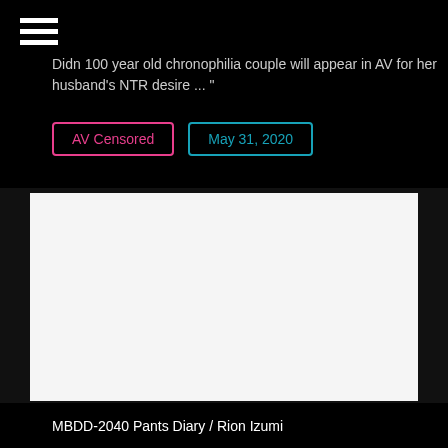Didn 100 year old chronophilia couple will appear in AV for her husband's NTR desire ... "
AV Censored
May 31, 2020
[Figure (photo): White/light gray rectangular image placeholder area]
MBDD-2040 Pants Diary / Rion Izumi